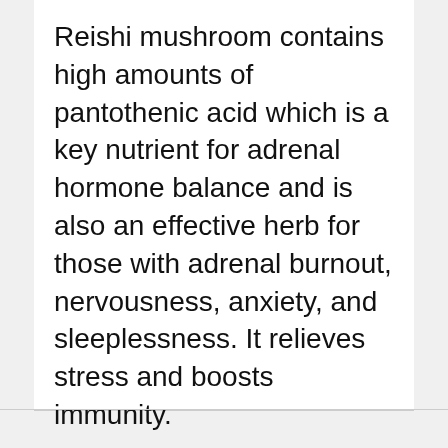Reishi mushroom contains high amounts of pantothenic acid which is a key nutrient for adrenal hormone balance and is also an effective herb for those with adrenal burnout, nervousness, anxiety, and sleeplessness. It relieves stress and boosts immunity.